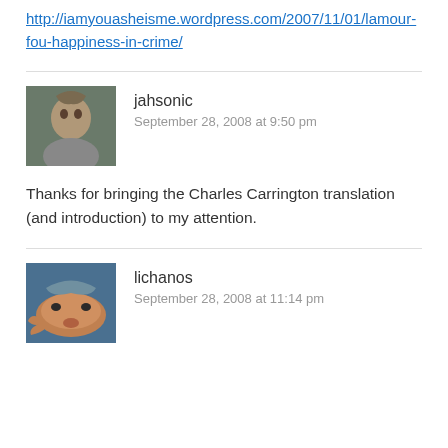http://iamyouasheisme.wordpress.com/2007/11/01/lamour-fou-happiness-in-crime/
jahsonic
September 28, 2008 at 9:50 pm
Thanks for bringing the Charles Carrington translation (and introduction) to my attention.
lichanos
September 28, 2008 at 11:14 pm